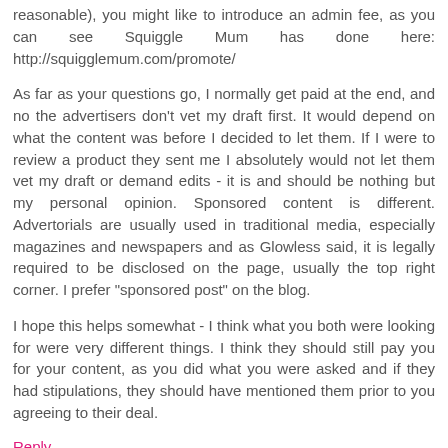reasonable), you might like to introduce an admin fee, as you can see Squiggle Mum has done here: http://squigglemum.com/promote/
As far as your questions go, I normally get paid at the end, and no the advertisers don't vet my draft first. It would depend on what the content was before I decided to let them. If I were to review a product they sent me I absolutely would not let them vet my draft or demand edits - it is and should be nothing but my personal opinion. Sponsored content is different. Advertorials are usually used in traditional media, especially magazines and newspapers and as Glowless said, it is legally required to be disclosed on the page, usually the top right corner. I prefer "sponsored post" on the blog.
I hope this helps somewhat - I think what you both were looking for were very different things. I think they should still pay you for your content, as you did what you were asked and if they had stipulations, they should have mentioned them prior to you agreeing to their deal.
Reply